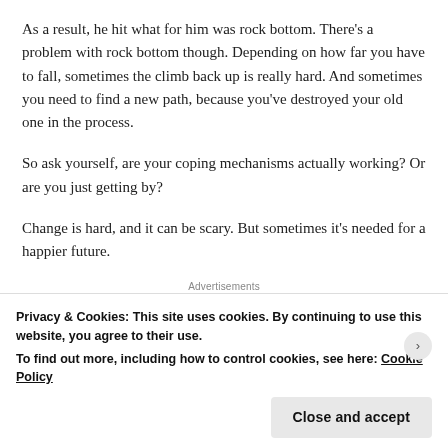As a result, he hit what for him was rock bottom. There's a problem with rock bottom though. Depending on how far you have to fall, sometimes the climb back up is really hard. And sometimes you need to find a new path, because you've destroyed your old one in the process.
So ask yourself, are your coping mechanisms actually working? Or are you just getting by?
Change is hard, and it can be scary. But sometimes it's needed for a happier future.
Advertisements
Privacy & Cookies: This site uses cookies. By continuing to use this website, you agree to their use.
To find out more, including how to control cookies, see here: Cookie Policy